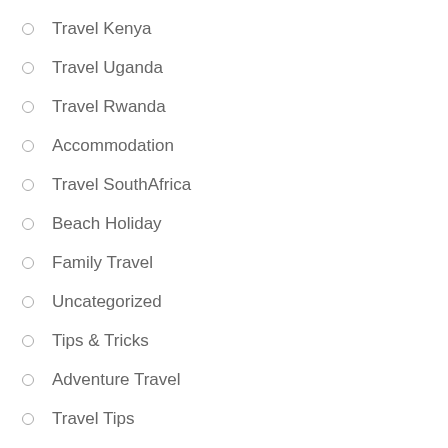Travel Kenya
Travel Uganda
Travel Rwanda
Accommodation
Travel SouthAfrica
Beach Holiday
Family Travel
Uncategorized
Tips & Tricks
Adventure Travel
Travel Tips
Travel Tanzania
META
Log in